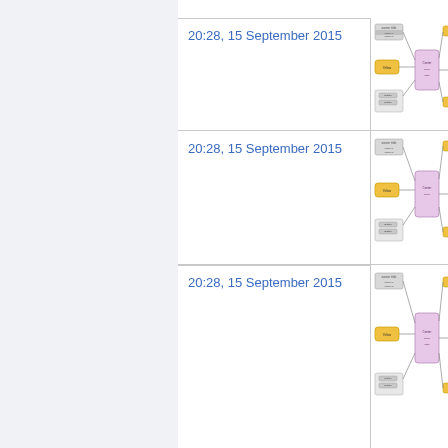20:28, 15 September 2015
[Figure (flowchart): Flowchart/diagram thumbnail showing interconnected boxes with yellow, purple, and gray colored nodes and arrows]
20:28, 15 September 2015
[Figure (flowchart): Flowchart/diagram thumbnail showing interconnected boxes with yellow, purple, and gray colored nodes and arrows]
20:28, 15 September 2015
[Figure (flowchart): Flowchart/diagram thumbnail showing interconnected boxes with yellow, purple, and gray colored nodes and arrows]